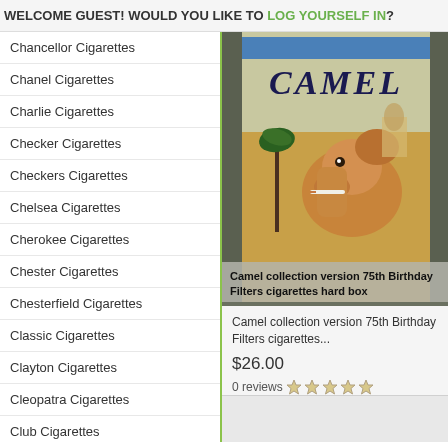WELCOME GUEST! WOULD YOU LIKE TO LOG YOURSELF IN?
Chancellor Cigarettes
Chanel Cigarettes
Charlie Cigarettes
Checker Cigarettes
Checkers Cigarettes
Chelsea Cigarettes
Cherokee Cigarettes
Chester Cigarettes
Chesterfield Cigarettes
Classic Cigarettes
Clayton Cigarettes
Cleopatra Cigarettes
Club Cigarettes
Cobra Cigarettes
Coburn Cigarettes
[Figure (photo): Camel cigarette box photo with camel illustration and desert scene]
Camel collection version 75th Birthday Filters cigarettes hard box
Camel collection version 75th Birthday Filters cigarettes...
$26.00
0 reviews